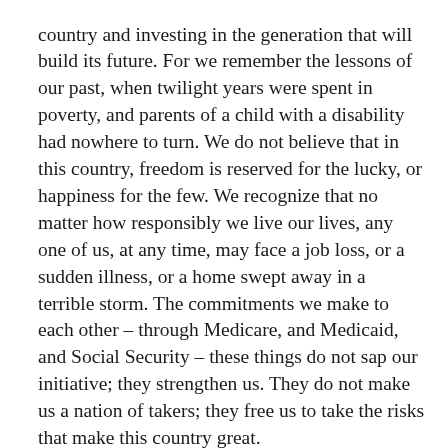country and investing in the generation that will build its future.  For we remember the lessons of our past, when twilight years were spent in poverty, and parents of a child with a disability had nowhere to turn.  We do not believe that in this country, freedom is reserved for the lucky, or happiness for the few.  We recognize that no matter how responsibly we live our lives, any one of us, at any time, may face a job loss, or a sudden illness, or a home swept away in a terrible storm. The commitments we make to each other – through Medicare, and Medicaid, and Social Security – these things do not sap our initiative; they strengthen us.  They do not make us a nation of takers; they free us to take the risks that make this country great.
We, the people, still believe that our obligations as Americans are not just to ourselves, but to all posterity.  We will respond to the threat of climate change, knowing that the failure to do so would betray our children and future generations.  Some may still deny the overwhelming